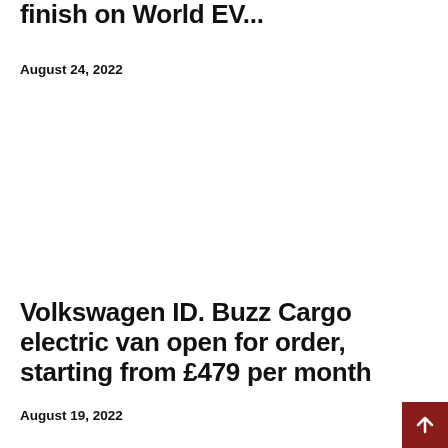finish on World EV...
August 24, 2022
Volkswagen ID. Buzz Cargo electric van open for order, starting from £479 per month
August 19, 2022